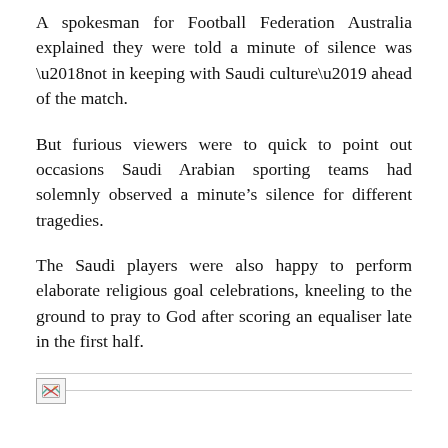A spokesman for Football Federation Australia explained they were told a minute of silence was ‘not in keeping with Saudi culture’ ahead of the match.
But furious viewers were to quick to point out occasions Saudi Arabian sporting teams had solemnly observed a minute’s silence for different tragedies.
The Saudi players were also happy to perform elaborate religious goal celebrations, kneeling to the ground to pray to God after scoring an equaliser late in the first half.
[Figure (photo): Broken image placeholder with horizontal line below the third paragraph]